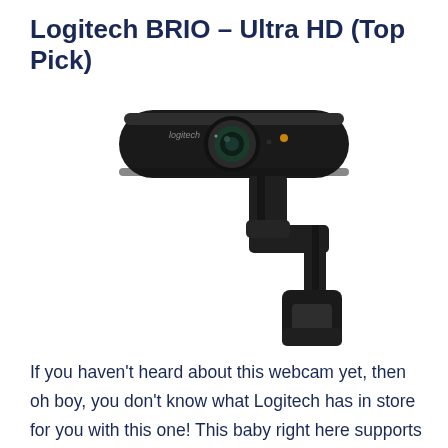Logitech BRIO – Ultra HD (Top Pick)
[Figure (photo): Logitech BRIO webcam product photo showing a sleek black elongated camera body with lens, mounted on an adjustable clip/stand bracket. The camera body has the Logitech logo and indicator lights visible.]
If you haven't heard about this webcam yet, then oh boy, you don't know what Logitech has in store for you with this one! This baby right here supports 4K recording at 30fps and both